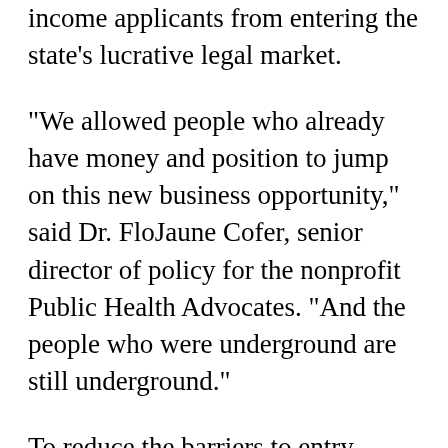income applicants from entering the state’s lucrative legal market.
“We allowed people who already have money and position to jump on this new business opportunity,” said Dr. FloJaune Cofer, senior director of policy for the nonprofit Public Health Advocates. “And the people who were underground are still underground.”
To reduce the barriers to entry, California’s cannabis law, Prop. 64, created equity programs to give licensing priority to members of